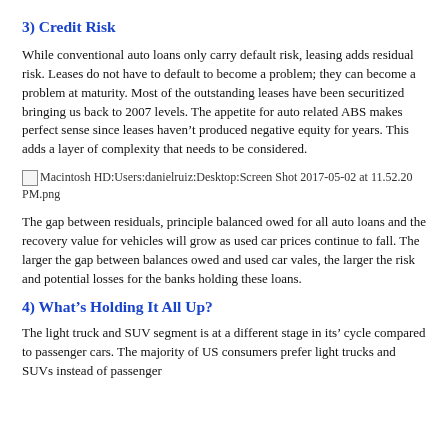3) Credit Risk
While conventional auto loans only carry default risk, leasing adds residual risk. Leases do not have to default to become a problem; they can become a problem at maturity. Most of the outstanding leases have been securitized bringing us back to 2007 levels. The appetite for auto related ABS makes perfect sense since leases haven’t produced negative equity for years. This adds a layer of complexity that needs to be considered.
[Figure (other): Broken image placeholder: Macintosh HD:Users:danielruiz:Desktop:Screen Shot 2017-05-02 at 11.52.20 PM.png]
The gap between residuals, principle balanced owed for all auto loans and the recovery value for vehicles will grow as used car prices continue to fall. The larger the gap between balances owed and used car vales, the larger the risk and potential losses for the banks holding these loans.
4) What’s Holding It All Up?
The light truck and SUV segment is at a different stage in its’ cycle compared to passenger cars. The majority of US consumers prefer light trucks and SUVs instead of passenger